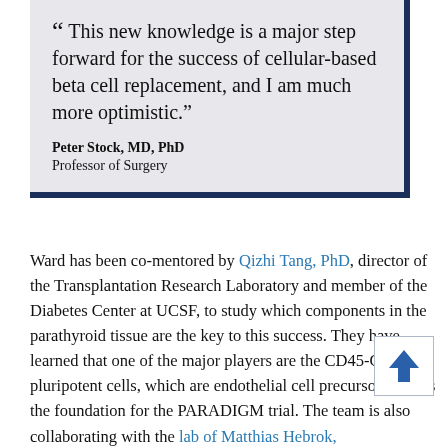“ This new knowledge is a major step forward for the success of cellular-based beta cell replacement, and I am much more optimistic.” Peter Stock, MD, PhD Professor of Surgery
Ward has been co-mentored by Qizhi Tang, PhD, director of the Transplantation Research Laboratory and member of the Diabetes Center at UCSF, to study which components in the parathyroid tissue are the key to this success. They have learned that one of the major players are the CD45-CD34+ pluripotent cells, which are endothelial cell precursors; this is the foundation for the PARADIGM trial. The team is also collaborating with the lab of Matthias Hebrok, PhD (director of the UCSF Diabetes Center) to obtain...